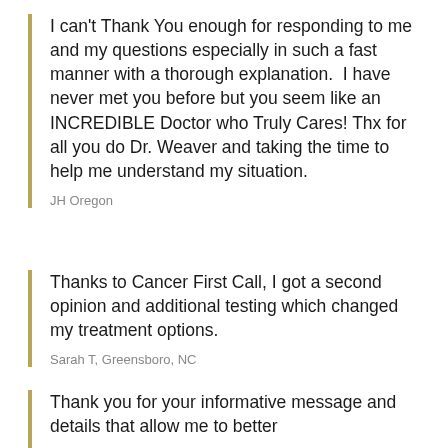I can't Thank You enough for responding to me and my questions especially in such a fast manner with a thorough explanation.  I have never met you before but you seem like an INCREDIBLE Doctor who Truly Cares! Thx for all you do Dr. Weaver and taking the time to help me understand my situation.
JH Oregon
Thanks to Cancer First Call, I got a second opinion and additional testing which changed my treatment options.
Sarah T, Greensboro, NC
Thank you for your informative message and details that allow me to better